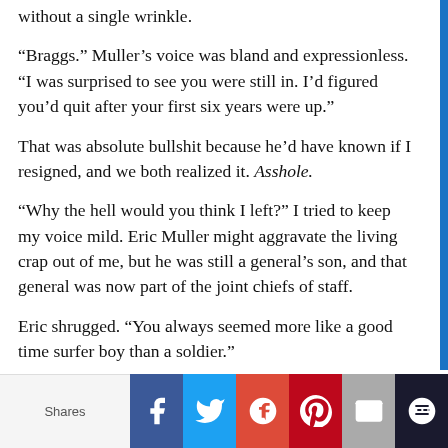without a single wrinkle.
“Braggs.” Muller’s voice was bland and expressionless. “I was surprised to see you were still in. I’d figured you’d quit after your first six years were up.”
That was absolute bullshit because he’d have known if I resigned, and we both realized it. Asshole.
“Why the hell would you think I left?” I tried to keep my voice mild. Eric Muller might aggravate the living crap out of me, but he was still a general’s son, and that general was now part of the joint chiefs of staff.
Eric shrugged. “You always seemed more like a good time surfer boy than a soldier.”
I dropped my bag on the bed that seemed to be mine. “Yeah, it’s good to see you, too, Eric. It’s been too long. How’s life been treating you?”
He watched me, his eyes calculating. “Can’t complain.